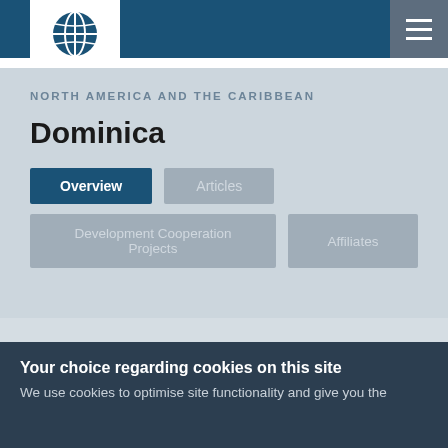NORTH AMERICA AND THE CARIBBEAN
Dominica
Overview | Articles | Development Cooperation Projects | Affiliates
ARTICLES
1 May 2017
Your choice regarding cookies on this site
We use cookies to optimise site functionality and give you the